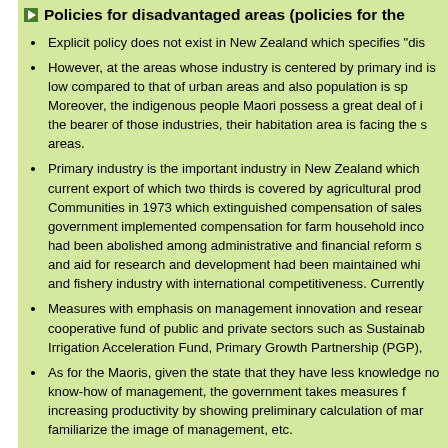Policies for disadvantaged areas (policies for the...
Explicit policy does not exist in New Zealand which specifies "dis...
However, at the areas whose industry is centered by primary ind... is low compared to that of urban areas and also population is sp... Moreover, the indigenous people Maori possess a great deal of i... the bearer of those industries, their habitation area is facing the s... areas.
Primary industry is the important industry in New Zealand which... current export of which two thirds is covered by agricultural prod... Communities in 1973 which extinguished compensation of sales... government implemented compensation for farm household inco... had been abolished among administrative and financial reform s... and aid for research and development had been maintained whi... and fishery industry with international competitiveness. Currently...
Measures with emphasis on management innovation and resear... cooperative fund of public and private sectors such as Sustainab... Irrigation Acceleration Fund, Primary Growth Partnership (PGP),...
As for the Maoris, given the state that they have less knowledge... no know-how of management, the government takes measures f... increasing productivity by showing preliminary calculation of mar... familiarize the image of management, etc.